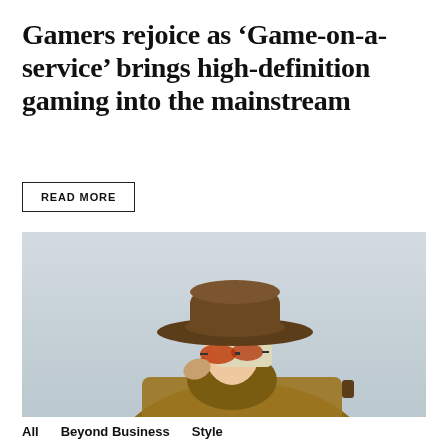Gamers rejoice as ‘Game-on-a-service’ brings high-definition gaming into the mainstream
READ MORE
[Figure (photo): A person wearing a wide-brimmed brown hat and orange-tinted sunglasses, dressed in a brown trench coat, photographed against a light grey background.]
All   Beyond Business   Style